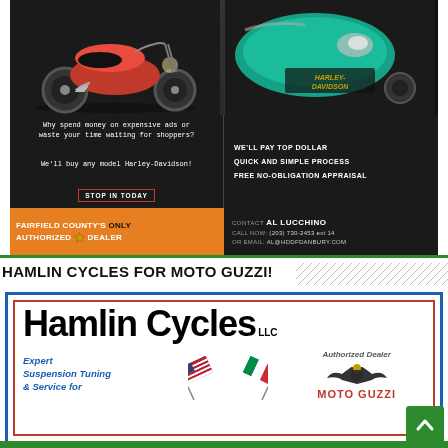[Figure (photo): Harley-Davidson advertisement showing two motorcycles (red and teal) in top half, with promotional text about buying Harley-Davidson bikes. Bottom shows 'Fairfield County's Only Authorized Dealer' in orange, contact info for Al Lucchino, phone (203) 730-2453 ext 14.]
HAMLIN CYCLES FOR MOTO GUZZI!
[Figure (illustration): Hamlin Cycles LLC advertisement. Large bold 'Hamlin Cycles LLC' logo text at top. Blue italic text: 'Expert Suspension Tuning & Service for'. Center shows crossed American and Italian flags. Right side shows 'Authorized Dealer' text and Moto Guzzi eagle logo with 'MOTO GUZZI' text. Ad has blue outer border and red inner border.]